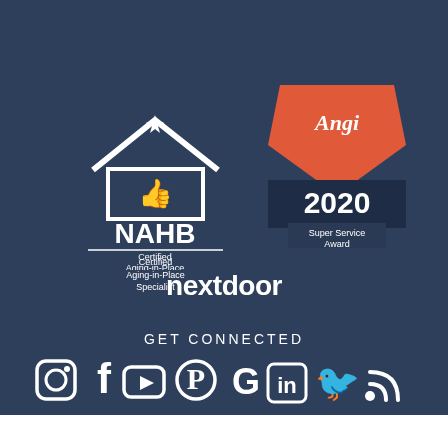[Figure (logo): NAHB Certified Aging-in-Place Specialist logo — white house outline with star, bold white NAHB text, thin horizontal rule, white text 'Certified Aging-in-Place Specialist']
[Figure (logo): Angi 2020 Super Service Award badge — red/coral shield shape with 'Angi' in white cursive at top, dark navy ribbon banner with '2020' in large white text, 'Super Service Award' in small white text below]
[Figure (logo): nextdoor logo in white text on dark blue background]
GET CONNECTED
[Figure (infographic): Row of white social media icons: Instagram, Facebook, YouTube, Pinterest, Google, LinkedIn, Twitter, RSS feed]